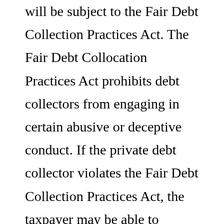will be subject to the Fair Debt Collection Practices Act. The Fair Debt Collocation Practices Act prohibits debt collectors from engaging in certain abusive or deceptive conduct. If the private debt collector violates the Fair Debt Collection Practices Act, the taxpayer may be able to recover damages. Nevertheless, taxpayers should remain vigilant and informed regarding tax scams as the increased involvement of private debt collectors may give rise to new scams or related issues.